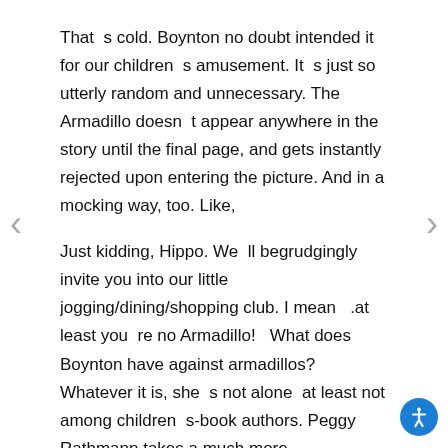That s cold. Boynton no doubt intended it for our children s amusement. It s just so utterly random and unnecessary. The Armadillo doesn t appear anywhere in the story until the final page, and gets instantly rejected upon entering the picture. And in a mocking way, too. Like,
Just kidding, Hippo. We ll begrudgingly invite you into our little jogging/dining/shopping club. I mean .at least you re no Armadillo!   What does Boynton have against armadillos? Whatever it is, she s not alone  at least not among children s-book authors. Peggy Rathmann takes a much more